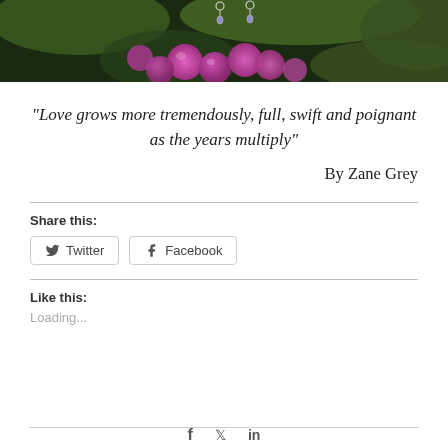[Figure (photo): Photograph of purple berries and green leaves with small jewelry/earrings visible, dark background]
“Love grows more tremendously, full, swift and poignant as the years multiply”
By Zane Grey
Share this:
Twitter
Facebook
Like this:
Loading...